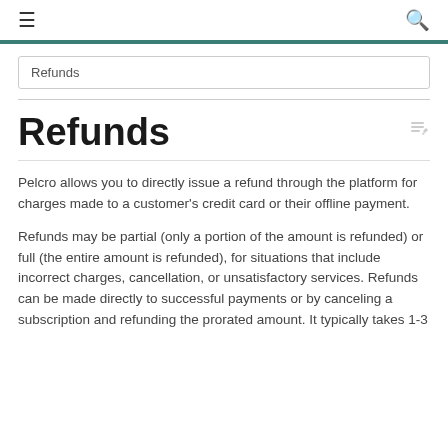≡  🔍
Refunds
Refunds
Pelcro allows you to directly issue a refund through the platform for charges made to a customer's credit card or their offline payment.
Refunds may be partial (only a portion of the amount is refunded) or full (the entire amount is refunded), for situations that include incorrect charges, cancellation, or unsatisfactory services. Refunds can be made directly to successful payments or by canceling a subscription and refunding the prorated amount. It typically takes 1-3